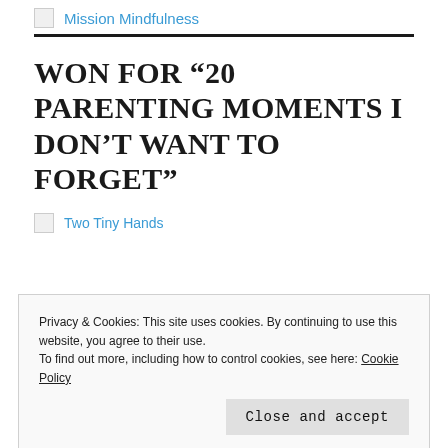Mission Mindfulness
WON FOR “20 PARENTING MOMENTS I DON’T WANT TO FORGET”
[Figure (illustration): Two Tiny Hands logo/image placeholder with broken image icon]
Privacy & Cookies: This site uses cookies. By continuing to use this website, you agree to their use.
To find out more, including how to control cookies, see here: Cookie Policy
Close and accept
[Figure (photo): Partial bottom image showing teal and pink/magenta colors with partial text visible]